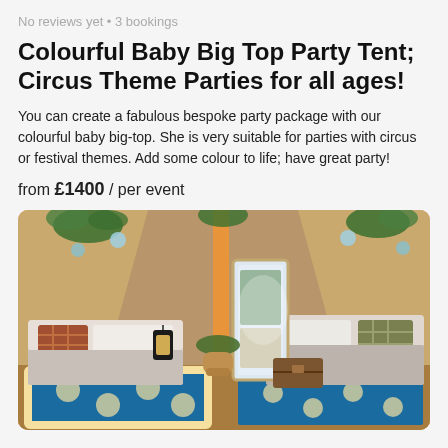No reviews yet • 3 bookings
Colourful Baby Big Top Party Tent; Circus Theme Parties for all ages!
You can create a fabulous bespoke party package with our colourful baby big-top. She is very suitable for parties with circus or festival themes. Add some colour to life; have great party!
from £1400 / per event
[Figure (photo): Interior of a large bell tent/glamping tent with two single beds with grey and plaid bedding, decorative plants, lanterns, a tall mirror, patterned rugs, and hanging globe lights. Natural canvas walls visible.]